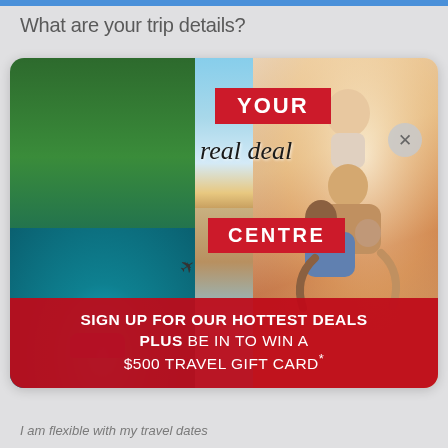What are your trip details?
[Figure (photo): Travel promotional banner/popup ad showing: left panel – tropical pool with person floating on blue striped raft surrounded by lush green jungle; center panel – airplane silhouette against sky and coastal sunset scene; right panel – happy multicultural family (adults and child). Text overlay reads 'YOUR real deal CENTRE'. Bottom strip: 'SIGN UP FOR OUR HOTTEST DEALS PLUS BE IN TO WIN A $500 TRAVEL GIFT CARD*'. Close X button top right.]
I am flexible with my travel dates